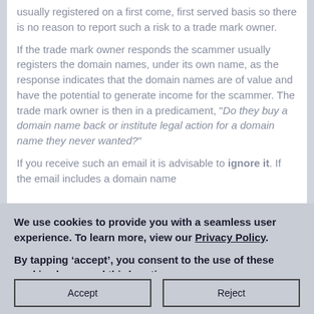usually registered on a first come, first served basis so there is no reason to report such a risk to a trade mark owner.
If the trade mark owner responds the scammer usually registers the domain names, under its own name, as the response indicates that the domain names are of value and have the potential to generate income for the scammer. The trade mark owner is then in a predicament, "Do they buy a domain name back or institute legal action for a domain name they never wanted?"
If you receive such an email it is advisable to ignore it. If the email includes a domain name
We use cookies to provide you with a seamless user experience. To learn more, view our Privacy Policy.
By tapping ‘accept’, you consent to the use of these cookies by us and third parties.